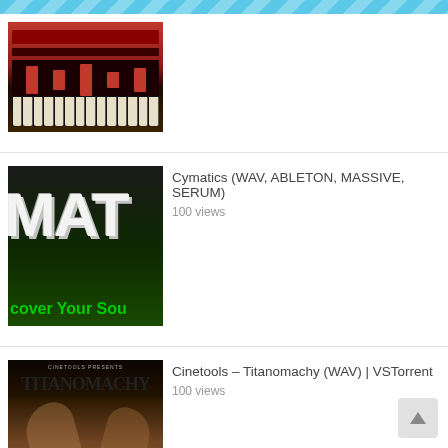[Figure (screenshot): Partial view of a red synthesizer plugin interface with keyboard at bottom]
[Figure (screenshot): Cymatics logo image with white grunge text on dark/green background saying MATI and 'cover Your Sou']
Cymatics (WAV, ABLETON, MASSIVE, SERUM)
100 views
[Figure (screenshot): Cinetools Titanomachy album artwork with dark mythological figures]
Cinetools – Titanomachy (WAV) | VSTorrent
100 views